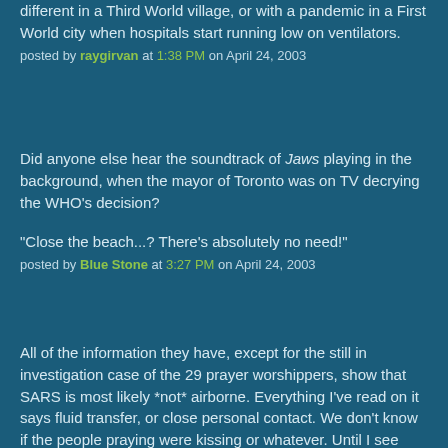different in a Third World village, or with a pandemic in a First World city when hospitals start running low on ventilators.
posted by raygirvan at 1:38 PM on April 24, 2003
Did anyone else hear the soundtrack of Jaws playing in the background, when the mayor of Toronto was on TV decrying the WHO's decision?
"Close the beach...? There's absolutely no need!"
posted by Blue Stone at 3:27 PM on April 24, 2003
All of the information they have, except for the still in investigation case of the 29 prayer worshippers, show that SARS is most likely *not* airborne. Everything I've read on it says fluid transfer, or close personal contact. We don't know if the people praying were kissing or whatever. Until I see